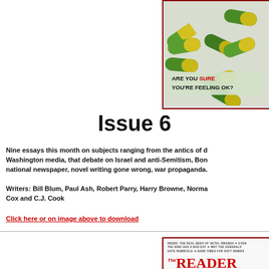[Figure (photo): Magazine cover showing green and yellow capsule pills with text 'ARE YOU SURE YOU'RE FEELING OK?' on a light green label, bordered in dark red]
Issue 6
Nine essays this month on subjects ranging from the antics of d... Washington media, that debate on Israel and anti-Semitism, Bon... national newspaper, novel writing gone wrong, war propaganda.
Writers: Bill Blum, Paul Ash, Robert Parry, Harry Browne, Norma... Cox and C.J. Cook
Click here or on image above to download
[Figure (photo): Magazine cover for 'The READER' with text: INSIDE: THE REAL HERO OF HOTEL RWANDA + EVEN THE KING HAS A BAD DAY + WHY THE GENERALS HATE RUMSFELD + HARD TIMES FOR SOFT DRINKS. WRITING WORTH READING + ISSUE 6 + MAY 2006]